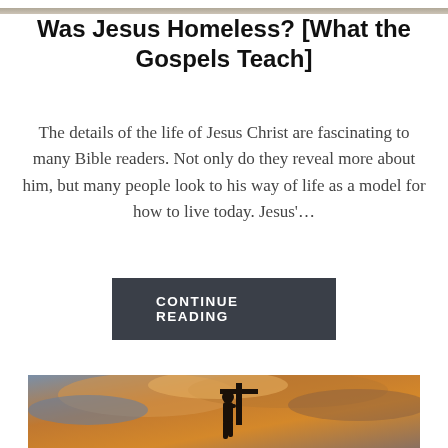[Figure (photo): Partial top edge of an article header image, cropped]
Was Jesus Homeless? [What the Gospels Teach]
The details of the life of Jesus Christ are fascinating to many Bible readers. Not only do they reveal more about him, but many people look to his way of life as a model for how to live today. Jesus'…
CONTINUE READING
[Figure (photo): Silhouette of a person carrying a large cross against a dramatic orange and blue cloudy sky at sunset]